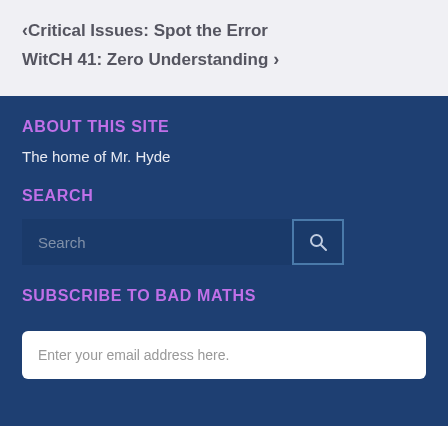‹ Critical Issues: Spot the Error
WitCH 41: Zero Understanding ›
ABOUT THIS SITE
The home of Mr. Hyde
SEARCH
[Figure (other): Search input field with placeholder text 'Search' and a search button icon]
SUBSCRIBE TO BAD MATHS
[Figure (other): Email input field with placeholder text 'Enter your email address here.']